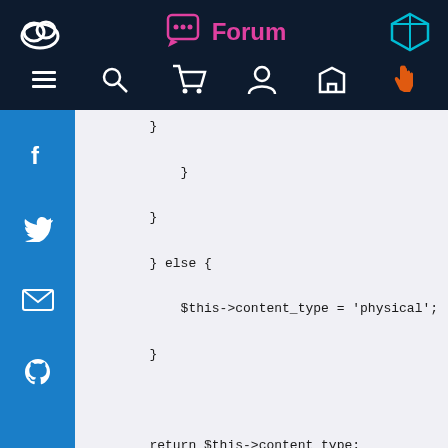Forum
[Figure (screenshot): Navigation bar with Forum title, icons for search, cart, user, mail, and hand pointer]
[Figure (screenshot): Social media sidebar with Facebook, Twitter, email, and GitHub icons]
}

            }

        }

        } else {

            $this->content_type = 'physical';

        }



        return $this->content_type;

    }